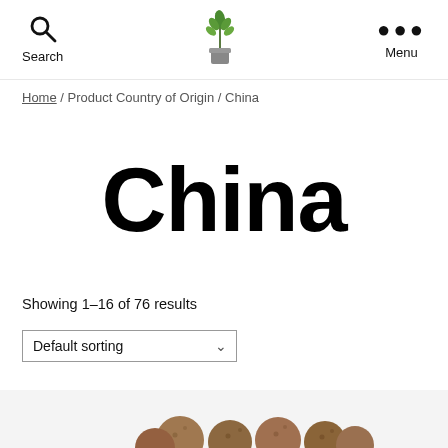Search | [Plant logo] | Menu
Home / Product Country of Origin / China
China
Showing 1–16 of 76 results
Default sorting
[Figure (photo): Close-up photo of round brown leca clay pebbles or similar botanical product]